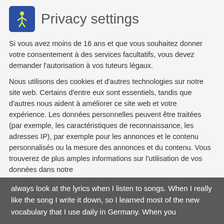Privacy settings
Si vous avez moins de 16 ans et que vous souhaitez donner votre consentement à des services facultatifs, vous devez demander l'autorisation à vos tuteurs légaux.
Nous utilisons des cookies et d'autres technologies sur notre site web. Certains d'entre eux sont essentiels, tandis que d'autres nous aident à améliorer ce site web et votre expérience. Les données personnelles peuvent être traitées (par exemple, les caractéristiques de reconnaissance, les adresses IP), par exemple pour les annonces et le contenu personnalisés ou la mesure des annonces et du contenu. Vous trouverez de plus amples informations sur l'utilisation de vos données dans notre
Essential (checked)
Statistics (unchecked)
Marketing (chat) (unchecked)
External media (unchecked)
always look at the lyrics when I listen to songs. When I really like the song I write it down, so I learned most of the new vocabulary that I use daily in Germany. When you